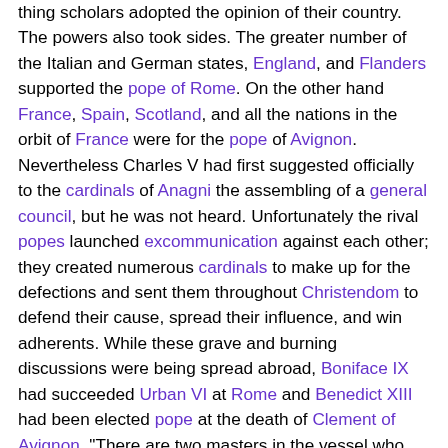thing scholars adopted the opinion of their country. The powers also took sides. The greater number of the Italian and German states, England, and Flanders supported the pope of Rome. On the other hand France, Spain, Scotland, and all the nations in the orbit of France were for the pope of Avignon. Nevertheless Charles V had first suggested officially to the cardinals of Anagni the assembling of a general council, but he was not heard. Unfortunately the rival popes launched excommunication against each other; they created numerous cardinals to make up for the defections and sent them throughout Christendom to defend their cause, spread their influence, and win adherents. While these grave and burning discussions were being spread abroad, Boniface IX had succeeded Urban VI at Rome and Benedict XIII had been elected pope at the death of Clement of Avignon. "There are two masters in the vessel who are fencing with and contradicting each other", said Jean Petit at the Council of Paris (1406). Several ecclesiastical assemblies met in France and elsewhere without definite result. The evil continued without remedy or truce. The King of France and his uncles began to